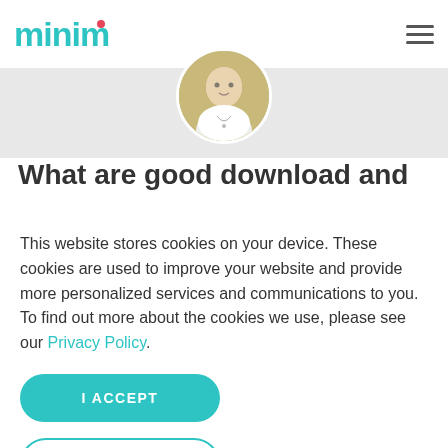minim
[Figure (photo): Circular avatar photo of a person wearing white clothing with a necklace, against a light background]
What are good download and
This website stores cookies on your device. These cookies are used to improve your website and provide more personalized services and communications to you. To find out more about the cookies we use, please see our Privacy Policy.
I ACCEPT
I DECLINE